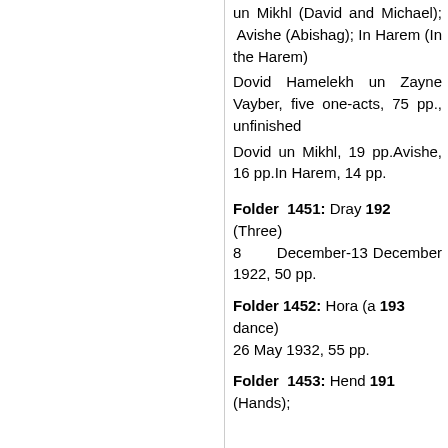un Mikhl (David and Michael); Avishe (Abishag); In Harem (In the Harem)
Dovid Hamelekh un Zayne Vayber, five one-acts, 75 pp., unfinished
Dovid un Mikhl, 19 pp.Avishe, 16 pp.In Harem, 14 pp.
Folder 1451: Dray 192(Three)
8 December-13 December 1922, 50 pp.
Folder 1452: Hora (a 193dance)
26 May 1932, 55 pp.
Folder 1453: Hend 191(Hands);